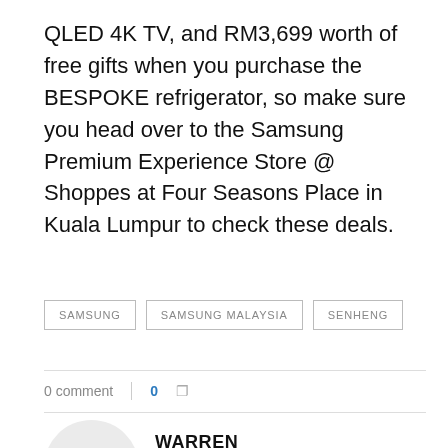QLED 4K TV, and RM3,699 worth of free gifts when you purchase the BESPOKE refrigerator, so make sure you head over to the Samsung Premium Experience Store @ Shoppes at Four Seasons Place in Kuala Lumpur to check these deals.
SAMSUNG
SAMSUNG MALAYSIA
SENHENG
0 comment  |  0  []
WARREN
The geeky dictator of KLGG.
[]